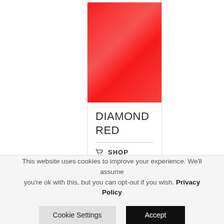[Figure (photo): Product card showing a red diamond-pattern fabric swatch with title DIAMOND RED and a SHOP NOW call-to-action with cart icon, displayed in a white card with border]
This website uses cookies to improve your experience. We'll assume you're ok with this, but you can opt-out if you wish. Privacy Policy
Cookie Settings
Accept